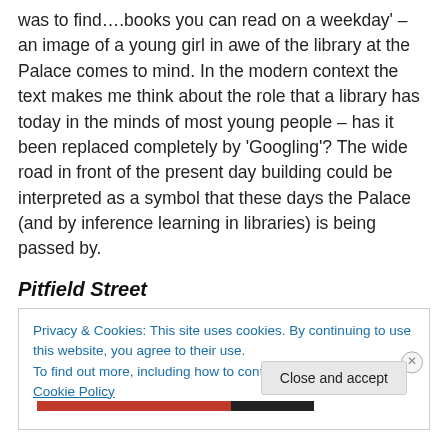was to find….books you can read on a weekday' – an image of a young girl in awe of the library at the Palace comes to mind. In the modern context the text makes me think about the role that a library has today in the minds of most young people – has it been replaced completely by 'Googling'? The wide road in front of the present day building could be interpreted as a symbol that these days the Palace (and by inference learning in libraries) is being passed by.
Pitfield Street
Privacy & Cookies: This site uses cookies. By continuing to use this website, you agree to their use.
To find out more, including how to control cookies, see here: Cookie Policy